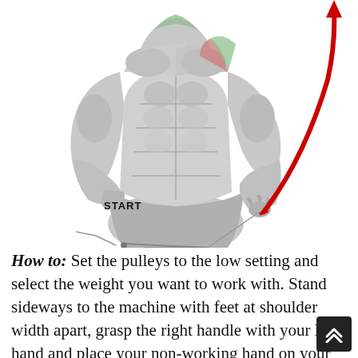[Figure (illustration): Anatomical illustration of a muscular male figure performing a cable lateral raise exercise. The figure is shown in grayscale with highlighted muscles (trapezius, anterior deltoid, lateral deltoid colored in pink/green). A red curved arrow sweeps from the low-cable start position (labeled 'START' near the hip) upward and to the right, indicating the direction of motion.]
How to: Set the pulleys to the low setting and select the weight you want to work with. Stand sideways to the machine with feet at shoulder width apart, grasp the right handle with your left hand and place your non-working hand on your hips. Stand straight up, keeping your abs tight a shoulders back and raise the cable out and to